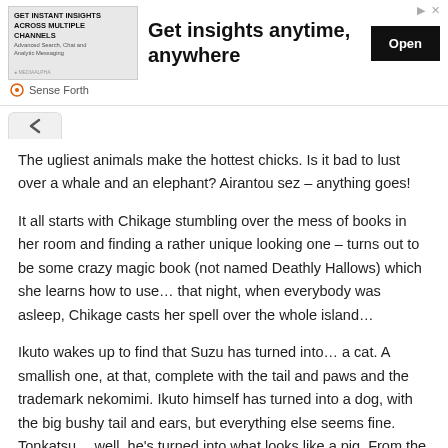[Figure (screenshot): Advertisement banner: 'Get insights anytime, anywhere' with an Open button and Sense Forth branding]
The ugliest animals make the hottest chicks. Is it bad to lust over a whale and an elephant? Airantou sez – anything goes!
It all starts with Chikage stumbling over the mess of books in her room and finding a rather unique looking one – turns out to be some crazy magic book (not named Deathly Hallows) which she learns how to use… that night, when everybody was asleep, Chikage casts her spell over the whole island…
Ikuto wakes up to find that Suzu has turned into… a cat. A smallish one, at that, complete with the tail and paws and the trademark nekomimi. Ikuto himself has turned into a dog, with the big bushy tail and ears, but everything else seems fine. Tonkatsu… well, he's turned into what looks like a pig. From the real world.